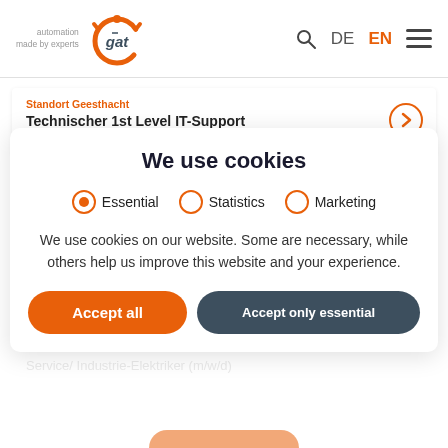[Figure (logo): GAT automation logo with orange circular icon and tagline 'automation made by experts']
automation made by experts | Q | DE | EN | ≡
Standort Geesthacht
Technischer 1st Level IT-Support (m/w/d) Helpdesk
We use cookies
Essential  Statistics  Marketing
We use cookies on our website. Some are necessary, while others help us improve this website and your experience.
Service Industrie-Elektriker (m/w/d)
Accept all   Accept only essential